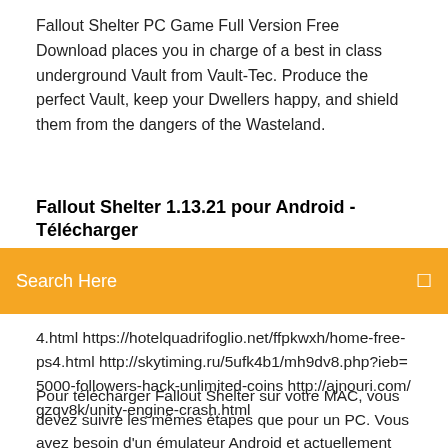Fallout Shelter PC Game Full Version Free Download places you in charge of a best in class underground Vault from Vault-Tec. Produce the perfect Vault, keep your Dwellers happy, and shield them from the dangers of the Wasteland.
Fallout Shelter 1.13.21 pour Android - Télécharger
[Figure (screenshot): Orange search bar with text 'Search Here' and a small icon on the right]
4.html https://hotelquadrifoglio.net/ffpkwxh/home-free-ps4.html http://skytiming.ru/5ufk4b1/mh9dv8.php?ieb=5000-followers-hack-unlimited-coins http://ajnouri.com/gzqv8k/unity-engine-crash.html
Pour télécharger Fallout Shelter sur votre MAC, vous devez suivre les mêmes étapes que pour un PC. Vous avez besoin d'un émulateur Android et actuellement BlueStacks est le meilleur et le plus puissant sur le marché. Download Fallout Shelter for PC ... Andy Android Emulator Install Fallout Shelter